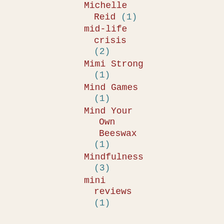Michelle Reid (1)
mid-life crisis (2)
Mimi Strong (1)
Mind Games (1)
Mind Your Own Beeswax (1)
Mindfulness (3)
mini reviews (1)